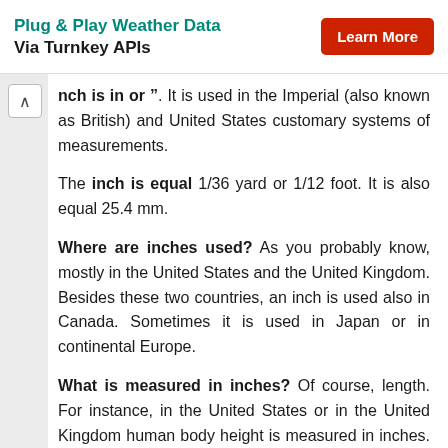[Figure (other): Advertisement banner: 'Plug & Play Weather Data Via Turnkey APIs' with a red 'Learn More' button]
inch is in or ". It is used in the Imperial (also known as British) and United States customary systems of measurements.
The inch is equal 1/36 yard or 1/12 foot. It is also equal 25.4 mm.
Where are inches used? As you probably know, mostly in the United States and the United Kingdom. Besides these two countries, an inch is used also in Canada. Sometimes it is used in Japan or in continental Europe.
What is measured in inches? Of course, length. For instance, in the United States or in the United Kingdom human body height is measured in inches. In Japan and in continental Europe